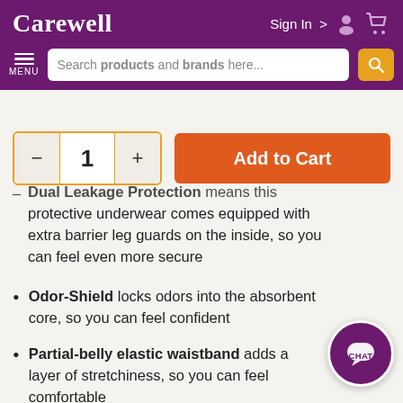Carewell — Sign In > [user icon] [cart icon]
Search products and brands here...
— MENU
- 1 + [quantity control] | Add to Cart
Dual Leakage Protection means this protective underwear comes equipped with extra barrier leg guards on the inside, so you can feel even more secure
Odor-Shield locks odors into the absorbent core, so you can feel confident
Partial-belly elastic waistband adds a layer of stretchiness, so you can feel comfortable